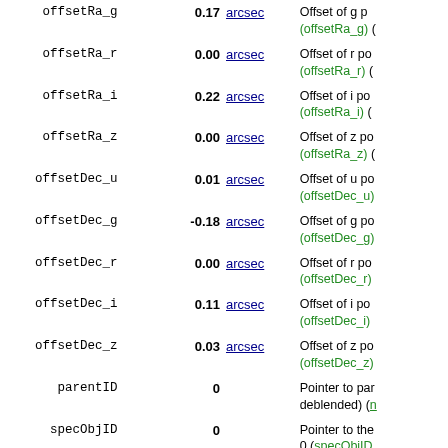| Name | Value | Unit | Description |
| --- | --- | --- | --- |
| offsetRa_g | 0.17 | arcsec | Offset of g p... (offsetRa_g) ( |
| offsetRa_r | 0.00 | arcsec | Offset of r po... (offsetRa_r) ( |
| offsetRa_i | 0.22 | arcsec | Offset of i po... (offsetRa_i) ( |
| offsetRa_z | 0.00 | arcsec | Offset of z po... (offsetRa_z) ( |
| offsetDec_u | 0.01 | arcsec | Offset of u po... (offsetDec_u) |
| offsetDec_g | -0.18 | arcsec | Offset of g po... (offsetDec_g) |
| offsetDec_r | 0.00 | arcsec | Offset of r po... (offsetDec_r) |
| offsetDec_i | 0.11 | arcsec | Offset of i po... (offsetDec_i) |
| offsetDec_z | 0.03 | arcsec | Offset of z po... (offsetDec_z) |
| parentID | 0 |  | Pointer to par... deblended) (n... |
| specObjID | 0 |  | Pointer to the 0 (specObjID |
| u | 22.599 | mag | (i) [4/37.3] M... |